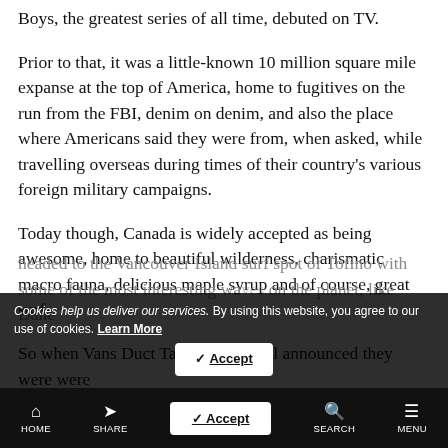Canada first shot to fame as a country in 2001 when Trailer Park Boys, the greatest series of all time, debuted on TV.
Prior to that, it was a little-known 10 million square mile expanse at the top of America, home to fugitives on the run from the FBI, denim on denim, and also the place where Americans said they were from, when asked, while travelling overseas during times of their country's various foreign military campaigns.
Today though, Canada is widely accepted as being awesome, home to beautiful wilderness, charismatic macro fauna, delicious maple syrup and of course, great surf.
So when Vans Duct Tape Invitational announced they were were headed to the Vancouver Island surf spot of Tofino with some of the most interesting wa... panel, like Dane
Cookies help us deliver our services. By using this website, you agree to our use of cookies. Learn More
HOME  SHARE  Accept  SEARCH  MENU